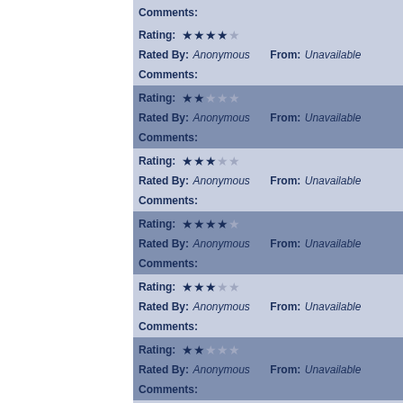Comments:
Rating: ★★★★☆  Rated By: Anonymous  From: Unavailable  Comments:
Rating: ★★☆☆☆  Rated By: Anonymous  From: Unavailable  Comments:
Rating: ★★★☆☆  Rated By: Anonymous  From: Unavailable  Comments:
Rating: ★★★★☆  Rated By: Anonymous  From: Unavailable  Comments:
Rating: ★★★☆☆  Rated By: Anonymous  From: Unavailable  Comments:
Rating: ★★☆☆☆  Rated By: Anonymous  From: Unavailable  Comments:
Rating: ★★★☆☆  Rated By: Anonymous  From: Unavailable